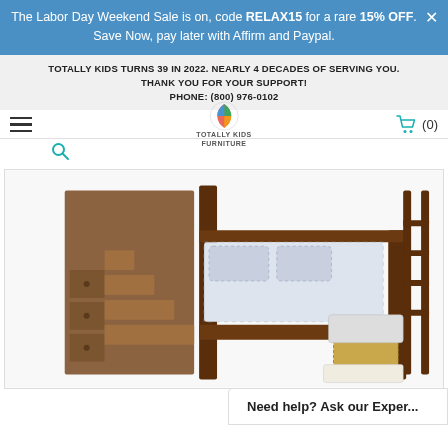The Labor Day Weekend Sale is on, code RELAX15 for a rare 15% OFF. Save Now, pay later with Affirm and Paypal.
TOTALLY KIDS TURNS 39 IN 2022. NEARLY 4 DECADES OF SERVING YOU. THANK YOU FOR YOUR SUPPORT! PHONE: (800) 976-0102
[Figure (screenshot): Totally Kids Furniture website navigation bar with hamburger menu, logo, search icon, and cart (0)]
[Figure (photo): Wooden bunk bed with staircase dresser on the left side and a ladder on the right, with patterned bedding and wicker basket beneath]
Need help? Ask our Exper...